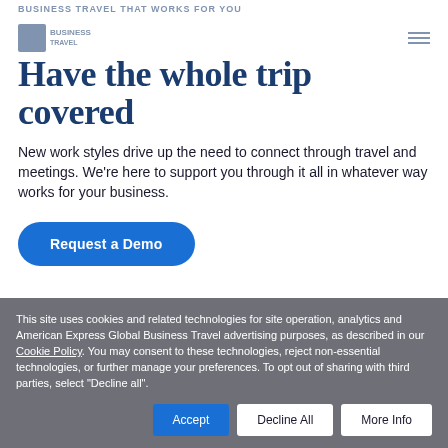BUSINESS TRAVEL THAT WORKS FOR YOU
Have the whole trip covered
New work styles drive up the need to connect through travel and meetings. We're here to support you through it all in whatever way works for your business.
Request a Demo
This site uses cookies and related technologies for site operation, analytics and American Express Global Business Travel advertising purposes, as described in our Cookie Policy. You may consent to these technologies, reject non-essential technologies, or further manage your preferences. To opt out of sharing with third parties, select "Decline all".
Accept | Decline All | More Info